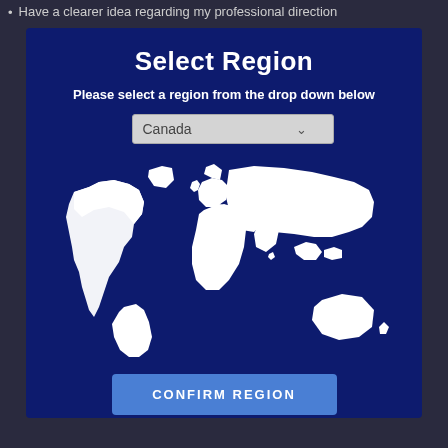Have a clearer idea regarding my professional direction
Select Region
Please select a region from the drop down below
[Figure (screenshot): Dropdown selector showing 'Canada' with a chevron arrow, for selecting a region]
[Figure (map): World map showing white continents on dark blue background, with Canada highlighted/selected region]
CONFIRM REGION